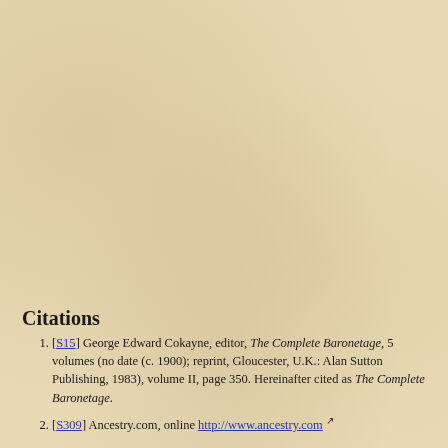Citations
[S15] George Edward Cokayne, editor, The Complete Baronetage, 5 volumes (no date (c. 1900); reprint, Gloucester, U.K.: Alan Sutton Publishing, 1983), volume II, page 350. Hereinafter cited as The Complete Baronetage.
[S309] Ancestry.com, online http://www.ancestry.com